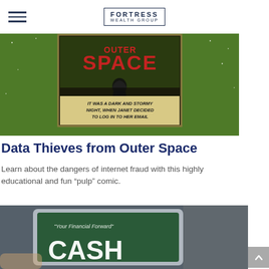FORTRESS WEALTH GROUP
[Figure (photo): Comic book cover showing 'Data Thieves from Outer Space' with a green background, a hooded figure silhouette, and text reading 'IT WAS A DARK AND STORMY NIGHT, WHEN JANET DECIDED TO LOG IN TO HER EMAIL']
Data Thieves from Outer Space
Learn about the dangers of internet fraud with this highly educational and fun “pulp” comic.
[Figure (photo): Photo of a tablet device being held, displaying a document titled 'Your Financial Forward' with the word 'CASH' in large white letters on a dark green background]